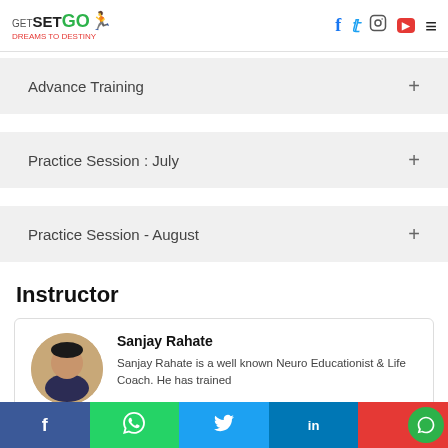GetSetGo - Dreams to Destiny
Advance Training
Practice Session : July
Practice Session - August
Instructor
Sanjay Rahate
Sanjay Rahate is a well known Neuro Educationist & Life Coach. He has trained